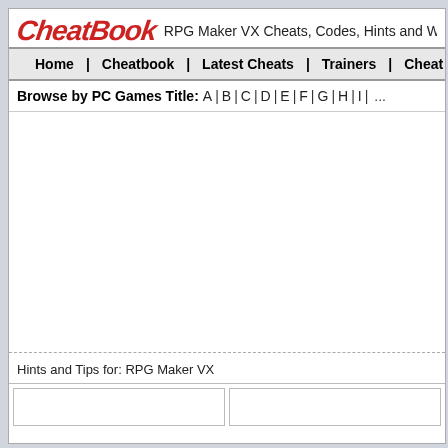CheatBook RPG Maker VX Cheats, Codes, Hints and W...
Home | Cheatbook | Latest Cheats | Trainers | Cheat...
Browse by PC Games Title: A | B | C | D | E | F | G | H | I | ...
Hints and Tips for: RPG Maker VX
[Figure (other): Two empty white box panels at bottom of page]